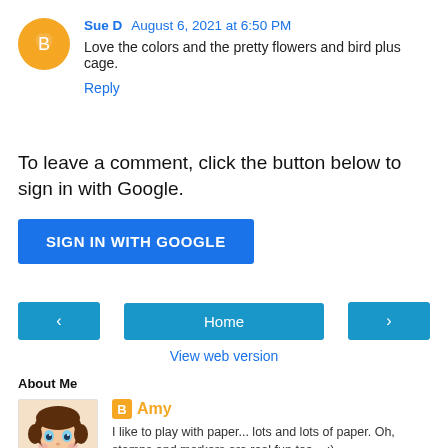Sue D  August 6, 2021 at 6:50 PM
Love the colors and the pretty flowers and bird plus cage.
Reply
To leave a comment, click the button below to sign in with Google.
SIGN IN WITH GOOGLE
< Home >
View web version
About Me
Amy
I like to play with paper... lots and lots of paper. Oh, stamps and markers are real fun too... ;)